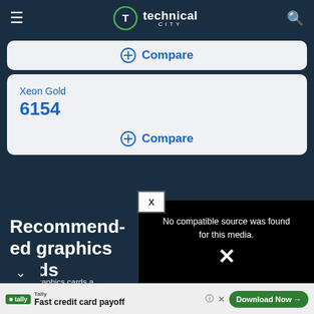technical city
Compare
Xeon Gold 6154
Compare
[Figure (screenshot): Media player error overlay showing 'No compatible source was found for this media.' with an X icon]
Recommended graphics cards
These graphics cards are compatible with the Xeon Gold processor.
[Figure (screenshot): Tally advertisement banner: Fast credit card payoff, Download Now button]